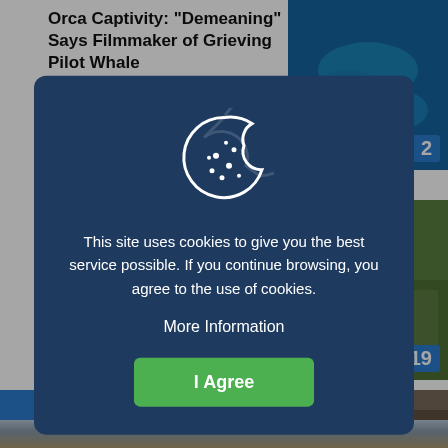Orca Captivity: "Demeaning" Says Filmmaker of Grieving Pilot Whale
October 4, 2018
Op-Ed: The Red-Stained Sea
[Figure (screenshot): Cookie consent modal overlay on a news website. Dark blue modal with cookie icon, text about cookie usage, More Information link, and I Agree green button.]
This site uses cookies to give you the best service possible. If you continue browsing, you agree to the use of cookies.
More Information
I Agree